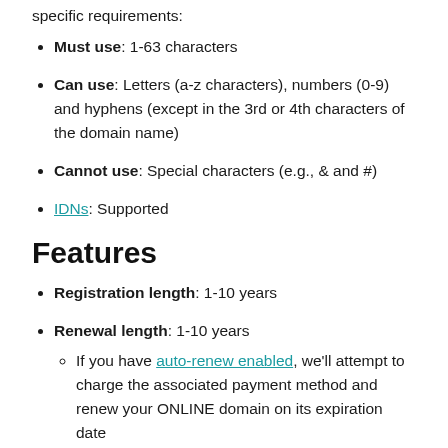specific requirements:
Must use: 1-63 characters
Can use: Letters (a-z characters), numbers (0-9) and hyphens (except in the 3rd or 4th characters of the domain name)
Cannot use: Special characters (e.g., & and #)
IDNs: Supported
Features
Registration length: 1-10 years
Renewal length: 1-10 years
If you have auto-renew enabled, we'll attempt to charge the associated payment method and renew your ONLINE domain on its expiration date